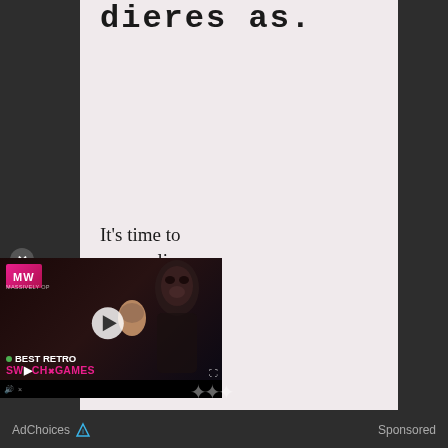dieres as.
It's time to
save online
[Figure (screenshot): Video advertisement overlay showing a Mass Effect-style game scene with alien creature, MW (MassivelyOP) logo, play button, and text 'BEST RETRO SWITCH GAMES']
AdChoices  Sponsored